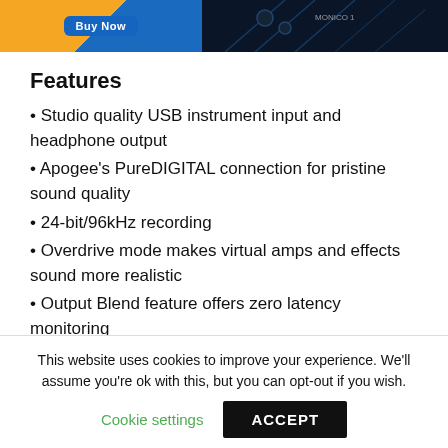[Figure (photo): Product image showing a yellow/blue combination on left and a dark audio interface device on right]
Features
Studio quality USB instrument input and headphone output
Apogee’s PureDIGITAL connection for pristine sound quality
24-bit/96kHz recording
Overdrive mode makes virtual amps and effects sound more realistic
Output Blend feature offers zero latency monitoring
This website uses cookies to improve your experience. We’ll assume you’re ok with this, but you can opt-out if you wish.
Cookie settings  ACCEPT